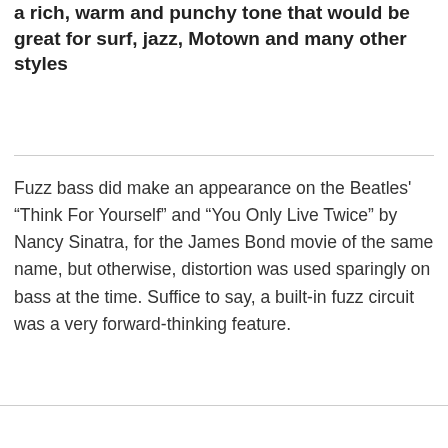a rich, warm and punchy tone that would be great for surf, jazz, Motown and many other styles
Fuzz bass did make an appearance on the Beatles' “Think For Yourself” and “You Only Live Twice” by Nancy Sinatra, for the James Bond movie of the same name, but otherwise, distortion was used sparingly on bass at the time. Suffice to say, a built-in fuzz circuit was a very forward-thinking feature.